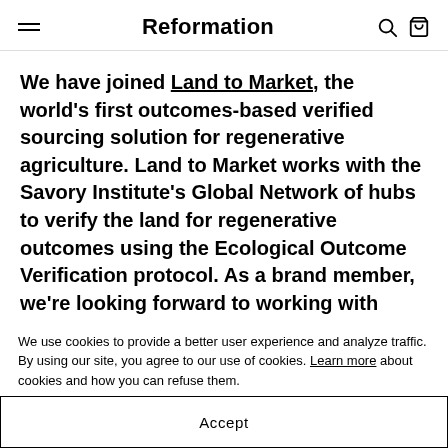Reformation
We have joined Land to Market, the world's first outcomes-based verified sourcing solution for regenerative agriculture. Land to Market works with the Savory Institute's Global Network of hubs to verify the land for regenerative outcomes using the Ecological Outcome Verification protocol. As a brand member, we're looking forward to working with Land to Market
We use cookies to provide a better user experience and analyze traffic. By using our site, you agree to our use of cookies. Learn more about cookies and how you can refuse them.
Accept